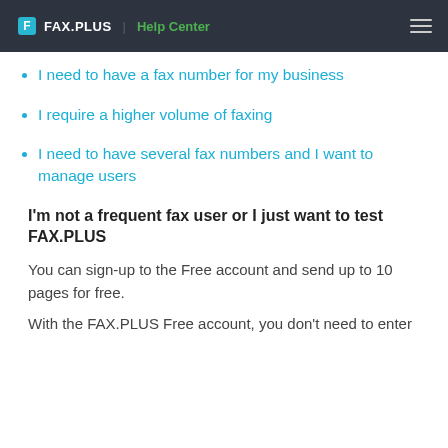FAX.PLUS | Help Center
I need to have a fax number for my business
I require a higher volume of faxing
I need to have several fax numbers and I want to manage users
I'm not a frequent fax user or I just want to test FAX.PLUS
You can sign-up to the Free account and send up to 10 pages for free.
With the FAX.PLUS Free account, you don't need to enter